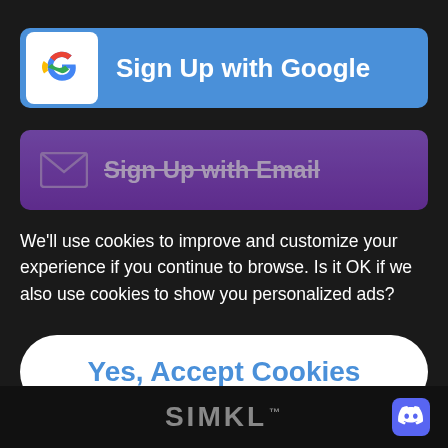[Figure (screenshot): Blue 'Sign Up with Google' button with Google G logo icon on white square background]
[Figure (screenshot): Purple 'Sign Up with Email' button with envelope icon, partially obscured/greyed out]
We'll use cookies to improve and customize your experience if you continue to browse. Is it OK if we also use cookies to show you personalized ads?
[Figure (screenshot): White rounded button with blue text 'Yes, Accept Cookies']
SIMKL™